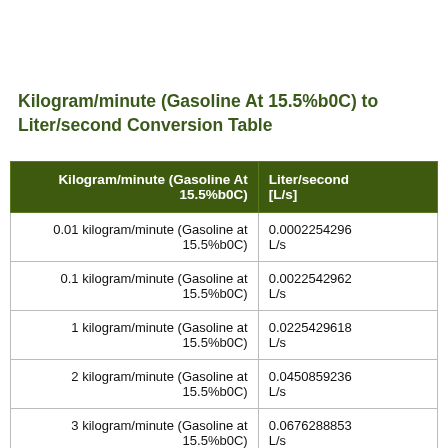Kilogram/minute (Gasoline At 15.5%b0C) to Liter/second Conversion Table
| Kilogram/minute (Gasoline At 15.5%b0C) | Liter/second [L/s] |
| --- | --- |
| 0.01 kilogram/minute (Gasoline at 15.5%b0C) | 0.0002254296 L/s |
| 0.1 kilogram/minute (Gasoline at 15.5%b0C) | 0.0022542962 L/s |
| 1 kilogram/minute (Gasoline at 15.5%b0C) | 0.0225429618 L/s |
| 2 kilogram/minute (Gasoline at 15.5%b0C) | 0.0450859236 L/s |
| 3 kilogram/minute (Gasoline at 15.5%b0C) | 0.0676288853 L/s |